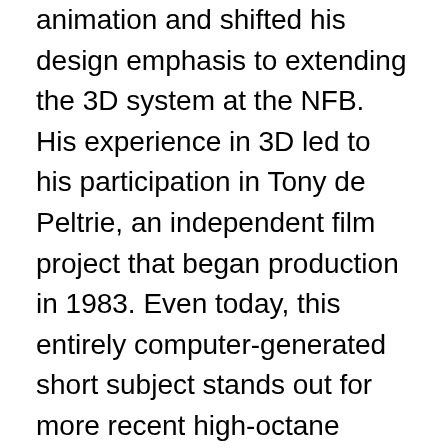animation and shifted his design emphasis to extending the 3D system at the NFB. His experience in 3D led to his participation in Tony de Peltrie, an independent film project that began production in 1983. Even today, this entirely computer-generated short subject stands out for more recent high-octane offerings which dominated animation festivals because it concentrates on character and mood rather than eye-popping illusions. Langlois served as character designer and co-director on de Peltrie for over three years to create just six-and-a half minutes of animation. This was at a time when the concept of a user interface was just being introduced to the computer world and every character gesture had to be written in code. With no commercial animation software applications on the market, Langlois realized that if he were to continue as a digital artist he would require better tools. In 1986 he founded Softimage and within a year introduced the